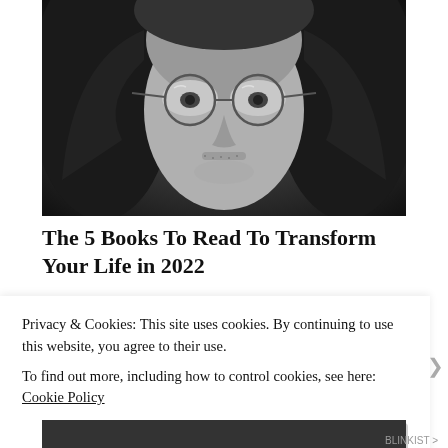[Figure (photo): Black and white close-up portrait of a young man with long hair and round wire-rimmed glasses, looking slightly upward, with stubble/beard.]
The 5 Books To Read To Transform Your Life in 2022
Blinkist
Privacy & Cookies: This site uses cookies. By continuing to use this website, you agree to their use.
To find out more, including how to control cookies, see here: Cookie Policy
Close and accept